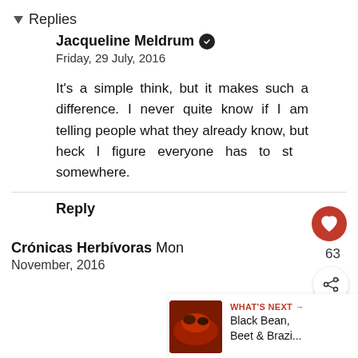Replies
Jacqueline Meldrum ✔
Friday, 29 July, 2016
It's a simple think, but it makes such a difference. I never quite know if I am telling people what they already know, but heck I figure everyone has to start somewhere.
Reply
Crónicas Herbívoras  Mon
November, 2016
[Figure (other): What's Next promo card showing Black Bean, Beet & Brazi... with food photo thumbnail]